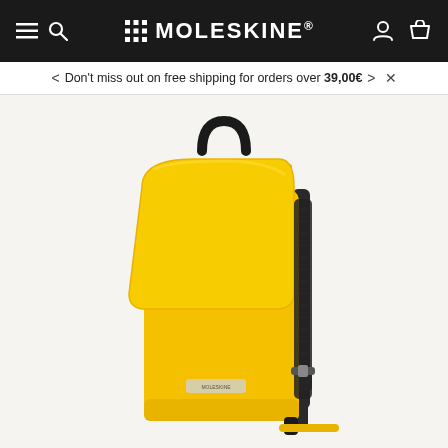MOLESKINE® — navigation bar with hamburger menu, search, account, and cart icons
Don't miss out on free shipping for orders over 39,00€
[Figure (photo): Yellow Moleskine backpack with black handle, black zipper, and black shoulder straps, shown on a light beige background. The backpack has a flap closure with a Moleskine label on the front.]